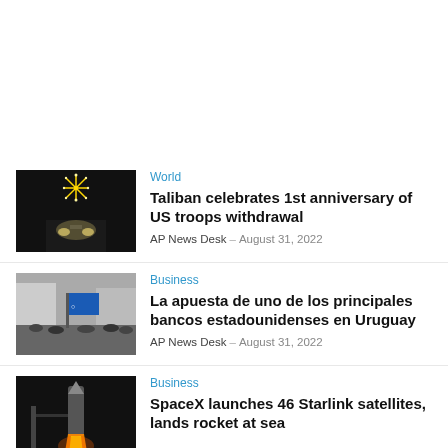[Figure (photo): Night scene with fireworks and bright vehicle headlights on a road]
World
Taliban celebrates 1st anniversary of US troops withdrawal
AP News Desk – August 31, 2022
[Figure (photo): Protest crowd with blue banner/flag on a city street]
Business
La apuesta de uno de los principales bancos estadounidenses en Uruguay
AP News Desk – August 31, 2022
[Figure (photo): Rocket launch at night with bright exhaust flames]
Business
SpaceX launches 46 Starlink satellites, lands rocket at sea